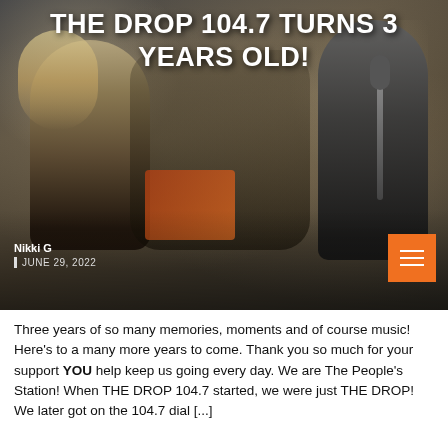[Figure (photo): Two performers on stage with a microphone, dark background with stage lighting. Overlay text shows article title.]
THE DROP 104.7 TURNS 3 YEARS OLD!
Nikki G
JUNE 29, 2022
Three years of so many memories, moments and of course music! Here's to a many more years to come. Thank you so much for your support YOU help keep us going every day. We are The People's Station! When THE DROP 104.7 started, we were just THE DROP! We later got on the 104.7 dial [...]
COMMUNITY  EVENTS  ON AIR  THE DROP  THE DROP